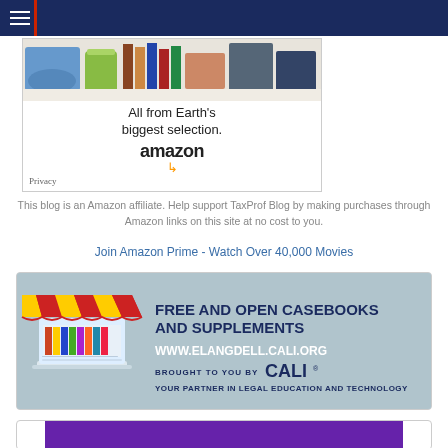Navigation bar with hamburger menu
[Figure (screenshot): Amazon advertisement banner showing 'All from Earth's biggest selection.' with Amazon logo and product photos]
This blog is an Amazon affiliate. Help support TaxProf Blog by making purchases through Amazon links on this site at no cost to you.
Join Amazon Prime - Watch Over 40,000 Movies
[Figure (illustration): CALI advertisement: FREE AND OPEN CASEBOOKS AND SUPPLEMENTS, www.elangdell.cali.org, BROUGHT TO YOU BY CALI, YOUR PARTNER IN LEGAL EDUCATION AND TECHNOLOGY]
[Figure (screenshot): Partial bottom advertisement box with purple bar visible]